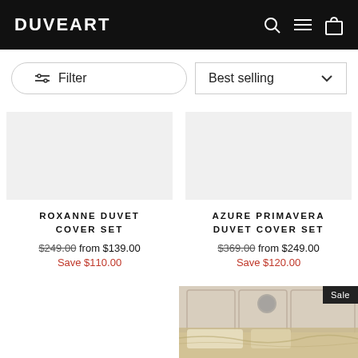DUVEART
Filter
Best selling
ROXANNE DUVET COVER SET
$249.00 from $139.00 Save $110.00
AZURE PRIMAVERA DUVET COVER SET
$369.00 from $249.00 Save $120.00
[Figure (photo): Bedroom scene with duvet cover set, partial view]
Sale